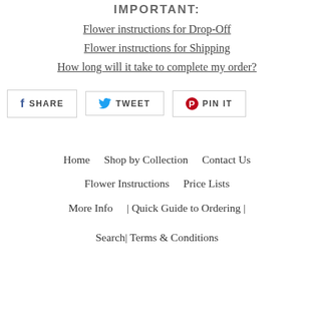IMPORTANT:
Flower instructions for Drop-Off
Flower instructions for Shipping
How long will it take to complete my order?
[Figure (infographic): Social sharing buttons: Facebook SHARE, Twitter TWEET, Pinterest PIN IT]
Home   Shop by Collection   Contact Us   Flower Instructions   Price Lists   More Info   | Quick Guide to Ordering |   Search   | Terms & Conditions